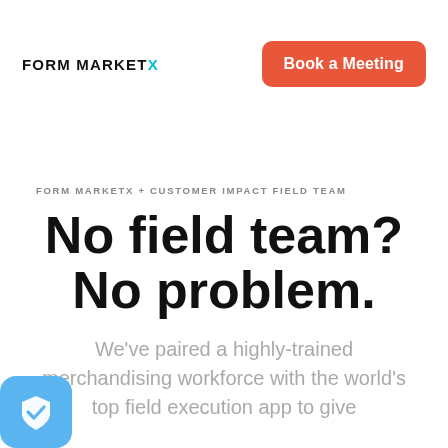FORM MARKETX
[Figure (other): Book a Meeting button — orange rounded rectangle with white bold text]
FORM MARKETX + CUSTOMER IMPACT FIELD TEAM
No field team? No problem.
We've paired a highly-trained merchandising workforce with the world's top field execution app to give
[Figure (other): Light blue rounded square icon with a white shield checkmark badge]